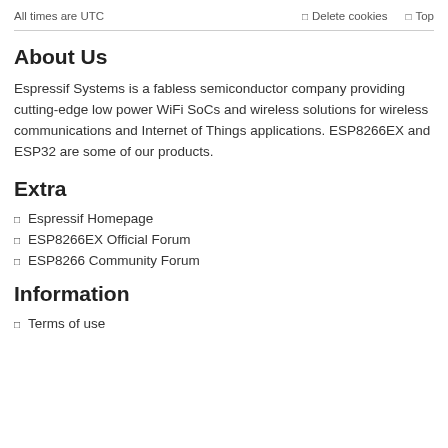All times are UTC   Delete cookies   Top
About Us
Espressif Systems is a fabless semiconductor company providing cutting-edge low power WiFi SoCs and wireless solutions for wireless communications and Internet of Things applications. ESP8266EX and ESP32 are some of our products.
Extra
Espressif Homepage
ESP8266EX Official Forum
ESP8266 Community Forum
Information
Terms of use